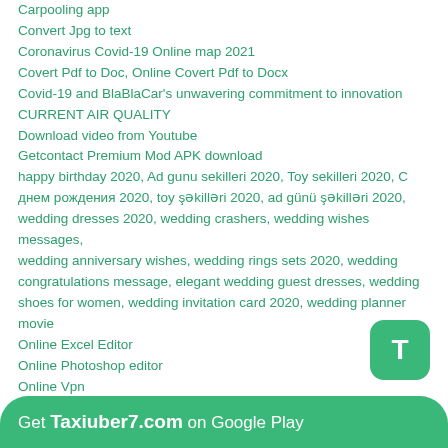Carpooling app
Convert Jpg to text
Coronavirus Covid-19 Online map 2021
Covert Pdf to Doc, Online Covert Pdf to Docx
Covid-19 and BlaBlaCar’s unwavering commitment to innovation
CURRENT AIR QUALITY
Download video from Youtube
Getcontact Premium Mod APK download
happy birthday 2020, Ad gunu sekilleri 2020, Toy sekilleri 2020, C днем рождения 2020, toy şəkilləri 2020, ad günü şəkilləri 2020, wedding dresses 2020, wedding crashers, wedding wishes messages, wedding anniversary wishes, wedding rings sets 2020, wedding congratulations message, elegant wedding guest dresses, wedding shoes for women, wedding invitation card 2020, wedding planner movie
Online Excel Editor
Online Photoshop editor
Online Vpn
Open Online TV
Send Message to Unsaved Number Without Adding Contact
Taxi Albania
Taxi Amsterdam and blablacar Amsterdam
Taxi Atlanta
Taxi Australia
[Figure (other): Green rounded button with letter T]
Get Taxiuber7.com on Google Play